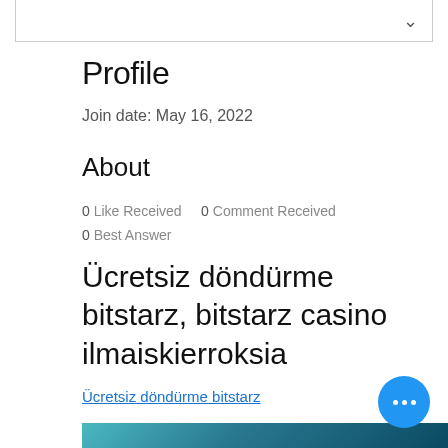Profile
Join date: May 16, 2022
About
0 Like Received   0 Comment Received
0 Best Answer
Ücretsiz döndürme bitstarz, bitstarz casino ilmaiskierroksia
Ücretsiz döndürme bitstarz